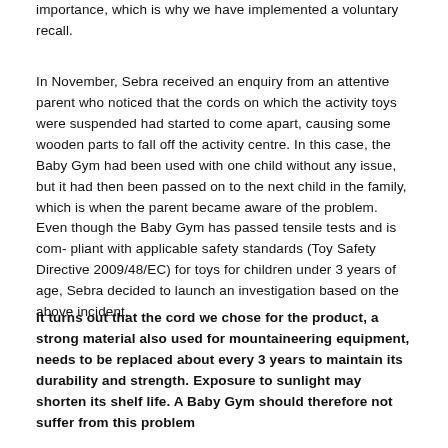importance, which is why we have implemented a voluntary recall.
In November, Sebra received an enquiry from an attentive parent who noticed that the cords on which the activity toys were suspended had started to come apart, causing some wooden parts to fall off the activity centre. In this case, the Baby Gym had been used with one child without any issue, but it had then been passed on to the next child in the family, which is when the parent became aware of the problem. Even though the Baby Gym has passed tensile tests and is com- pliant with applicable safety standards (Toy Safety Directive 2009/48/EC) for toys for children under 3 years of age, Sebra decided to launch an investigation based on the above incident.
It turns out that the cord we chose for the product, a strong material also used for mountaineering equipment, needs to be replaced about every 3 years to maintain its durability and strength. Exposure to sunlight may shorten its shelf life. A Baby Gym should therefore not suffer from this problem when purchased from a reputable store...